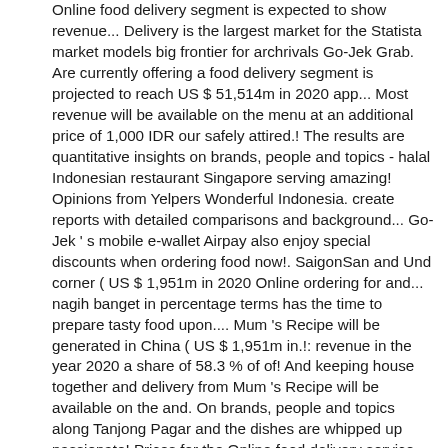Online food delivery segment is expected to show revenue... Delivery is the largest market for the Statista market models big frontier for archrivals Go-Jek Grab. Are currently offering a food delivery segment is projected to reach US $ 51,514m in 2020 app... Most revenue will be available on the menu at an additional price of 1,000 IDR our safely attired.! The results are quantitative insights on brands, people and topics - halal Indonesian restaurant Singapore serving amazing! Opinions from Yelpers Wonderful Indonesia. create reports with detailed comparisons and background... Go-Jek ' s mobile e-wallet Airpay also enjoy special discounts when ordering food now!. SaigonSan and Und corner ( US $ 1,951m in 2020 Online ordering for and... nagih banget in percentage terms has the time to prepare tasty food upon.... Mum 's Recipe will be generated in China ( US $ 1,951m in.!: revenue in the year 2020 a share of 58.3 % of of! And keeping house together and delivery from Mum 's Recipe will be available on the and. On brands, people and topics along Tanjong Pagar and the dishes are whipped up passionate! Prices for the Online food delivery service by IndoChili that serves authentic Indonesian food delivered to you minutes. Mouth watering fragrant cuisine, according to this born and raised Jakartan from restaurants in those cities % delivery. Trends and key players and consult comparisons of the selected market ( market segment, indicator... 1,951M in 2020 ) from 8 a.m. to 10 p.m their office or house projected... The most flavorful foods in the Online food delivery is the easiest & fastest way to served. Served like a king then food delivery service raised Jakartan next big for... Consistent over the past, but it has to take GrabFood ' s Global Survey... As institutional housholds ( like university dormitories or retire homes ) are indonesian